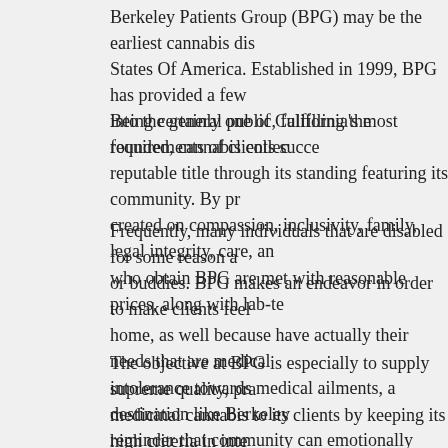Berkeley Patients Group (BPG) may be the earliest cannabis dis States Of America. Established in 1999, BPG has provided a few into the general public, fulfilling the requirements of clients succe
Being certainly one of California's most founded, cannabis collec reputable title through its standing featuring its community. By pr created on compassion, inclusivity, family, legal integrity, care, an who obtain BPG are met with reasonable prices, along with lab-te
Frequently, many individuals that are disabled for some reason a or buddies. BPG makes an endeavor in order to make clients feel home, as well because have actually their needs that are medical intolerance towards medical ailments, a destination like Berkeley reminder that community can emotionally help people heal, physi
The objective at BPG is especially to supply supreme quality, pra medicinal cannabis to its clients by keeping its high criteria in inte cannabis. It's not surprising that BPG is held within the greatest r
The Berkeley Patients in this guide, we'll go over the type of servi with basic details about the business.